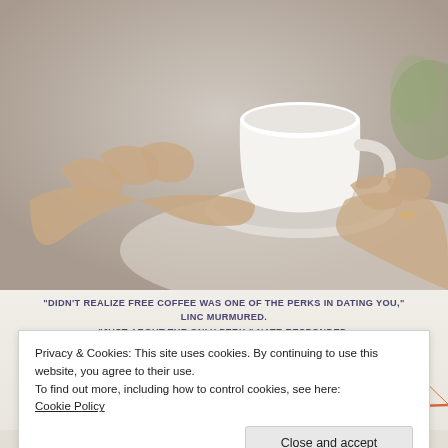[Figure (photo): Person holding a white coffee cup and saucer, close-up of hands, blurred background]
[Figure (illustration): Book cover for 'Stronger Than Hope' showing a man posing, with a bridge illustration in background and quote text overlay]
"DIDN'T REALIZE FREE COFFEE WAS ONE OF THE PERKS IN DATING YOU," LINC MURMURED. "JUST ABOUT THE ONLY PERK," NATE RESPONDED. "THE REST IS A COCKTAIL OF DAYDREAMS, KLUTZINESS, AND ANXIETY."
Privacy & Cookies: This site uses cookies. By continuing to use this website, you agree to their use.
To find out more, including how to control cookies, see here: Cookie Policy
Close and accept